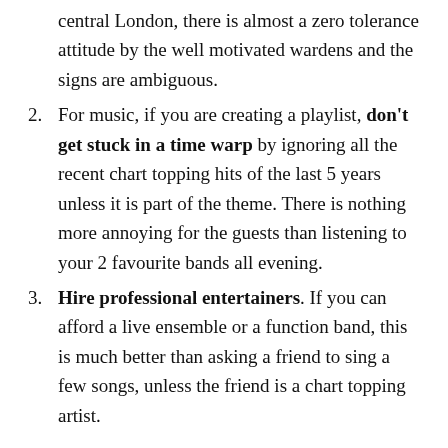central London, there is almost a zero tolerance attitude by the well motivated wardens and the signs are ambiguous.
For music, if you are creating a playlist, don't get stuck in a time warp by ignoring all the recent chart topping hits of the last 5 years unless it is part of the theme. There is nothing more annoying for the guests than listening to your 2 favourite bands all evening.
Hire professional entertainers. If you can afford a live ensemble or a function band, this is much better than asking a friend to sing a few songs, unless the friend is a chart topping artist.
I cover many private parties in London where space is tight and the organisers still manage to create a